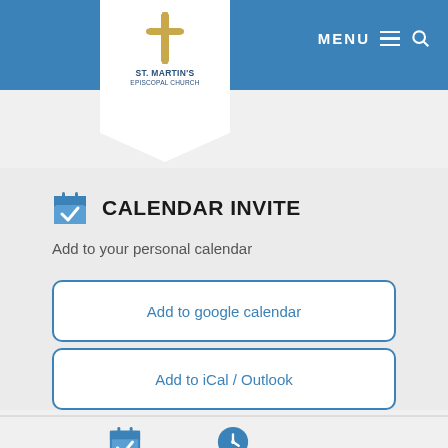St. Martin's Episcopal Church — MENU
CALENDAR INVITE
Add to your personal calendar
Add to google calendar
Add to iCal / Outlook
DATE   TIME
June 22,   4:30 pm